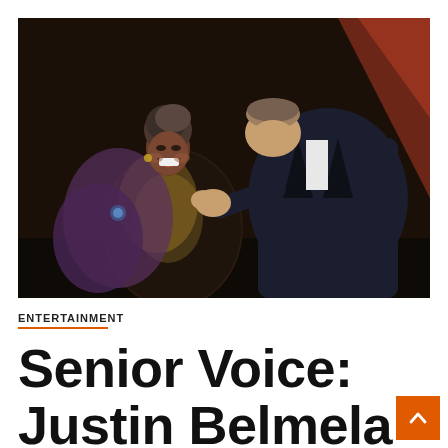[Figure (photo): Two people on a stage or ceremony; an older woman in a sequined dark dress laughing joyfully while a man in a dark suit bows and kisses her hand. Background is dark with a reddish geometric element.]
ENTERTAINMENT
Senior Voice: Justin Belmela' picks emotional